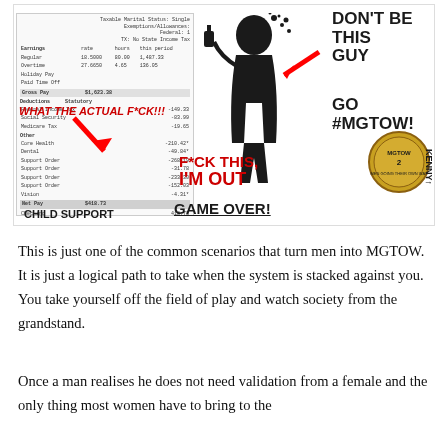[Figure (infographic): Meme image showing a paystub with large child support deductions labeled 'WHAT THE ACTUAL F*CK!!!', a silhouette of a man drinking, text overlays reading 'DON'T BE THIS GUY', 'GO #MGTOW!', 'F*CK THIS, I'M OUT', 'GAME OVER!', an MGTOW coin badge, and 'CHILD SUPPORT' caption at bottom left.]
This is just one of the common scenarios that turn men into MGTOW. It is just a logical path to take when the system is stacked against you. You take yourself off the field of play and watch society from the grandstand.
Once a man realises he does not need validation from a female and the only thing most women have to bring to the